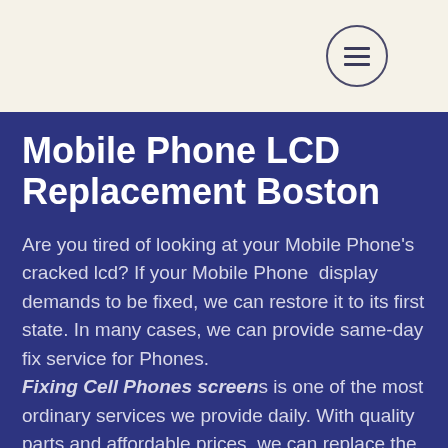[Figure (other): Header area with hamburger menu button in a circle on a cream/off-white background]
Mobile Phone LCD Replacement Boston
Are you tired of looking at your Mobile Phone's cracked lcd? If your Mobile Phone display demands to be fixed, we can restore it to its first state. In many cases, we can provide same-day fix service for Phones.
Fixing Cell Phone screens is one of the most ordinary services we provide daily. With quality parts and affordable prices, we can replace the